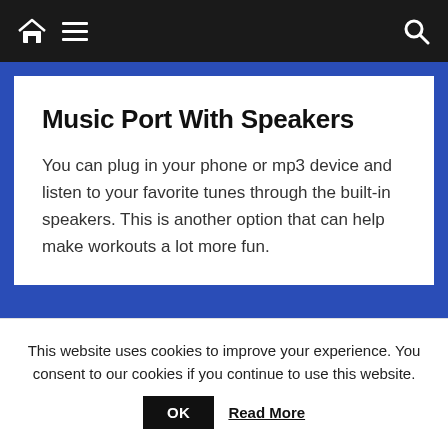Navigation bar with home icon, hamburger menu, and search icon
Music Port With Speakers
You can plug in your phone or mp3 device and listen to your favorite tunes through the built-in speakers. This is another option that can help make workouts a lot more fun.
[Figure (photo): Partial view of a device or product image at the bottom of the article]
This website uses cookies to improve your experience. You consent to our cookies if you continue to use this website.
OK   Read More